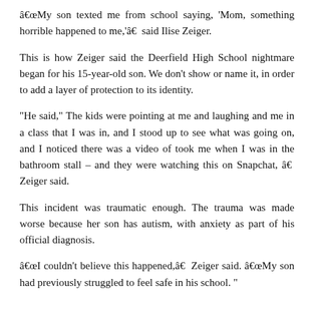“My son texted me from school saying, ‘Mom, something horrible happened to me,’â€ said Ilise Zeiger.
This is how Zeiger said the Deerfield High School nightmare began for his 15-year-old son. We don’t show or name it, in order to add a layer of protection to its identity.
“He said,” The kids were pointing at me and laughing and me in a class that I was in, and I stood up to see what was going on, and I noticed there was a video of took me when I was in the bathroom stall – and they were watching this on Snapchat, â€ Zeiger said.
This incident was traumatic enough. The trauma was made worse because her son has autism, with anxiety as part of his official diagnosis.
“I couldn’t believe this happened,â€ Zeiger said. “My son had previously struggled to feel safe in his school. ”